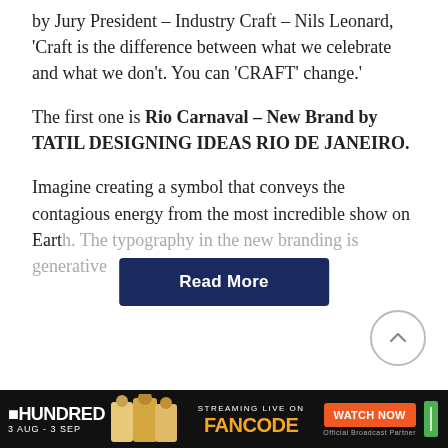by Jury President – Industry Craft – Nils Leonard, 'Craft is the difference between what we celebrate and what we don't. You can 'CRAFT' change.'
The first one is Rio Carnaval – New Brand by TATIL DESIGNING IDEAS RIO DE JANEIRO.
Imagine creating a symbol that conveys the contagious energy from the most incredible show on Earth. The typography in the new branding is generative
[Figure (other): Read More button overlay (dark navy blue rounded rectangle with white bold text 'Read More')]
[Figure (other): Back to top circular button with upward chevron arrow, positioned bottom right of content area]
[Figure (other): The Hundred cricket tournament advertisement banner: black background, HUNDRED logo, player images, FANCODE streaming text in orange, WATCH NOW button in orange, Official Broadcast Partner text. Dates: 3 AUG - 3 SEP]